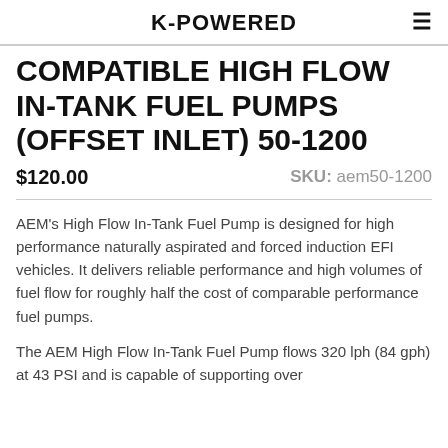K-POWERED
COMPATIBLE HIGH FLOW IN-TANK FUEL PUMPS (OFFSET INLET) 50-1200
$120.00   SKU: aem50-1200
AEM’s High Flow In-Tank Fuel Pump is designed for high performance naturally aspirated and forced induction EFI vehicles. It delivers reliable performance and high volumes of fuel flow for roughly half the cost of comparable performance fuel pumps.
The AEM High Flow In-Tank Fuel Pump flows 320 lph (84 gph) at 43 PSI and is capable of supporting over